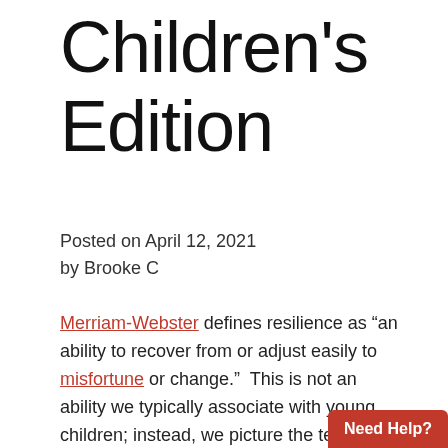Children's Edition
Posted on April 12, 2021
by Brooke C
Merriam-Webster defines resilience as “an ability to recover from or adjust easily to misfortune or change.”  This is not an ability we typically associate with young children; instead, we picture the terrible twos, what it’s like to have a teenager, and the inevitable bumps associated with figuring out how to share and get along in school.  It is up to us, the adults in their lives, to help children learn the skills associated with resilience.
Need Help?